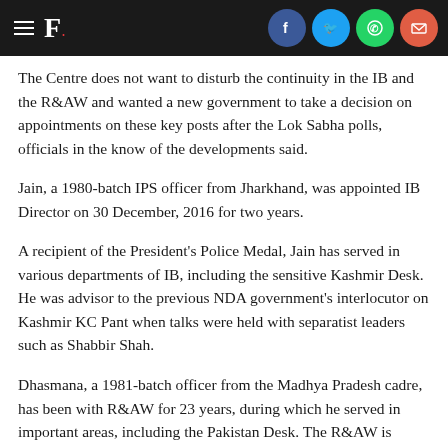F. [social share bar with Facebook, Twitter, WhatsApp, Email]
The Centre does not want to disturb the continuity in the IB and the R&AW and wanted a new government to take a decision on appointments on these key posts after the Lok Sabha polls, officials in the know of the developments said.
Jain, a 1980-batch IPS officer from Jharkhand, was appointed IB Director on 30 December, 2016 for two years.
A recipient of the President's Police Medal, Jain has served in various departments of IB, including the sensitive Kashmir Desk. He was advisor to the previous NDA government's interlocutor on Kashmir KC Pant when talks were held with separatist leaders such as Shabbir Shah.
Dhasmana, a 1981-batch officer from the Madhya Pradesh cadre, has been with R&AW for 23 years, during which he served in important areas, including the Pakistan Desk. The R&AW is tasked with gathering external intelligence.